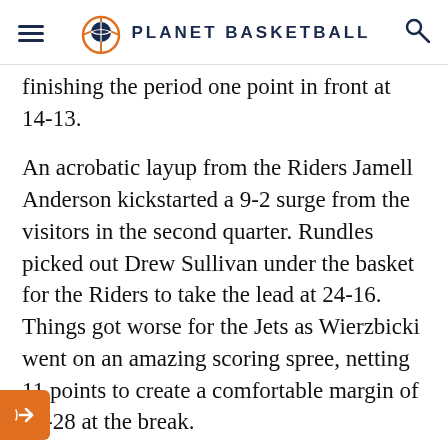PLANET BASKETBALL
finishing the period one point in front at 14-13.
An acrobatic layup from the Riders Jamell Anderson kickstarted a 9-2 surge from the visitors in the second quarter. Rundles picked out Drew Sullivan under the basket for the Riders to take the lead at 24-16. Things got worse for the Jets as Wierzbicki went on an amazing scoring spree, netting 11 points to create a comfortable margin of 42-28 at the break.
Defence creates the best offence as many coaches would say and that is what the